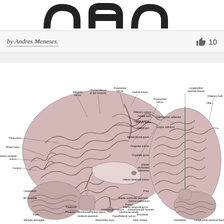[Figure (illustration): Partial view of a title or heading text showing curved characters, appears to be the top portion of a book or document title]
by Andres Meneses.
10 likes
[Figure (illustration): Detailed anatomical illustrations of the human brain showing two views: (left) sagittal/medial view with labeled structures including Pineal body, Posterior commissure, Parieto-occipital sulcus, Cuneus, Cerebellum, 4th ventricle, Pons, Medulla oblongata, Cerebral aqueduct, Mammillary body, Hypothalamic sulcus, Optic chiasm, Pituitary gland, Anterior commissure, Lamina terminalis, Intraventricular foramen, Fornix, Septum pellucidum, Corpus callosum, Interthalamic adhesion, Thalamus, Postcentral sulcus, Postcentral lobule, Central sulcus, Marginal sulcus, Choroid plexus of 3rd ventricle, Precuneus; (right) inferior/basal view with labeled structures including Longitudinal cerebral fissure, Olfactory sulcus, Olfactory bulb, Straight gyrus, Orbital sulcus, Orbital gyri, Medial frontal gyrus, Cingulate sulcus, Cingulate gyrus, Inferior perforated substance, Inferior temporal sulcus, Pons, Middle cerebellar peduncle, Inferior temporal gyrus, Entorhinal, Cerebellum, Longitudinal cerebral fissure, Hypna (partially cut off)]